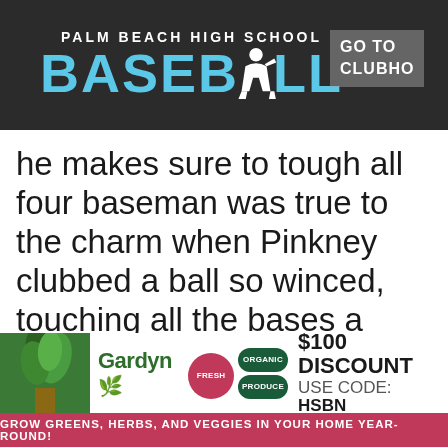[Figure (logo): Palm Beach High School Baseball logo banner on dark background, with partial 'GO TO CLUBHO' button visible at right]
he makes sure to tough all four baseman was true to the charm when Pinkney clubbed a ball so winced, touching all the bases a doubter to left-center field for a
[Figure (infographic): Gardyn advertisement banner with plant image, Gardyn logo, FRESH and ORGANIC/PRODUCE circle badges, $100 DISCOUNT USE CODE: HSBN offer, and 'GROW GREENS, HERBS, AND VEGGIES IN YOUR HOME YEAR-ROUND!' tagline]